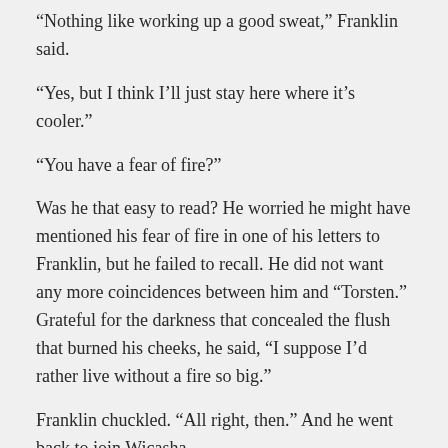“Nothing like working up a good sweat,” Franklin said.
“Yes, but I think I’ll just stay here where it’s cooler.”
“You have a fear of fire?”
Was he that easy to read? He worried he might have mentioned his fear of fire in one of his letters to Franklin, but he failed to recall. He did not want any more coincidences between him and “Torsten.” Grateful for the darkness that concealed the flush that burned his cheeks, he said, “I suppose I’d rather live without a fire so big.”
Franklin chuckled. “All right, then.” And he went back to join Wicasha.
Wicasha continued blowing on the harmonica while he and Franklin cavorted around the fire. “Little Brown Jug” flowed from Wicasha’s broad lips as easily as the breeze that kissed the red-hot flames. Tory again stomped his foot and clapped